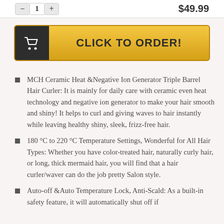− 1 + $49.99
[Figure (other): CLICK TO ORDER button with shopping cart icon]
MCH Ceramic Heat &Negative Ion Generator Triple Barrel Hair Curler: It is mainly for daily care with ceramic even heat technology and negative ion generator to make your hair smooth and shiny! It helps to curl and giving waves to hair instantly while leaving healthy shiny, sleek, frizz-free hair.
180 °C to 220 °C Temperature Settings, Wonderful for All Hair Types: Whether you have color-treated hair, naturally curly hair, or long, thick mermaid hair, you will find that a hair curler/waver can do the job pretty Salon style.
Auto-off &Auto Temperature Lock, Anti-Scald: As a built-in safety feature, it will automatically shut off if